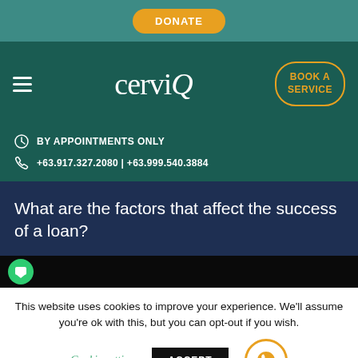[Figure (screenshot): CerviQ website screenshot with donate button at top]
DONATE
cerviQ
BOOK A SERVICE
BY APPOINTMENTS ONLY
+63.917.327.2080 | +63.999.540.3884
What are the factors that affect the success of a loan?
This website uses cookies to improve your experience. We'll assume you're ok with this, but you can opt-out if you wish.
Cookie settings
ACCEPT